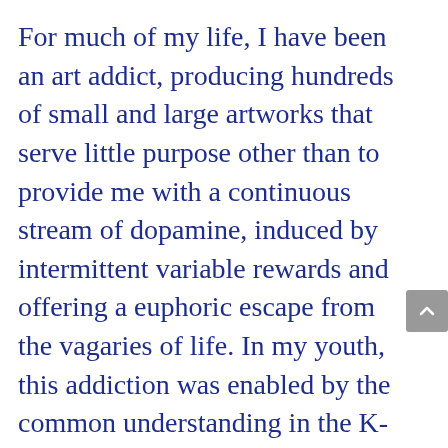For much of my life, I have been an art addict, producing hundreds of small and large artworks that serve little purpose other than to provide me with a continuous stream of dopamine, induced by intermittent variable rewards and offering a euphoric escape from the vagaries of life. In my youth, this addiction was enabled by the common understanding in the K-12 education system that as long as I'm making art, I'm an artist, and artists and the art they make is unquestionably valuable. In my youth,